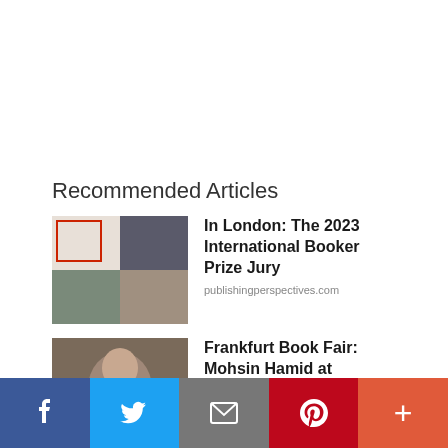Recommended Articles
In London: The 2023 International Booker Prize Jury
publishingperspectives.com
Frankfurt Book Fair: Mohsin Hamid at Opening Press Conference
publishingperspectives.com
Frankfurter Buchmesse: 4,000 Exhibitors Registered to Date
publishingperspectives.com